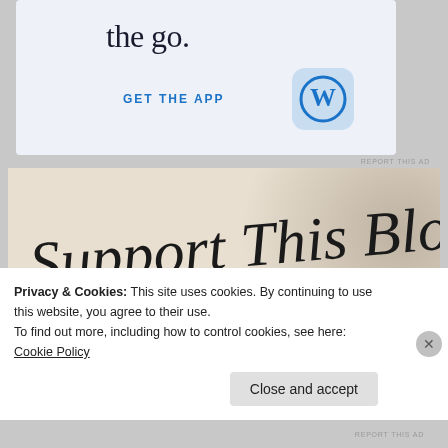the go.
GET THE APP
[Figure (logo): WordPress logo icon — blue circle with W on a rounded square background]
REPORT THIS AD
[Figure (illustration): Beige/tan background banner with handwritten script text 'Support This Blog' in black cursive, with a shadow silhouette of hands in the background and a circular photo of a person (Asian woman) at the bottom center]
Privacy & Cookies: This site uses cookies. By continuing to use this website, you agree to their use.
To find out more, including how to control cookies, see here: Cookie Policy
Close and accept
REPORT THIS AD